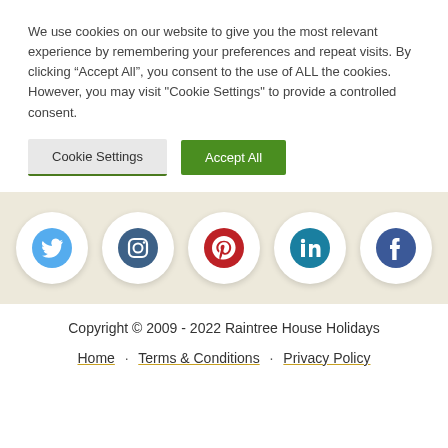We use cookies on our website to give you the most relevant experience by remembering your preferences and repeat visits. By clicking “Accept All”, you consent to the use of ALL the cookies. However, you may visit "Cookie Settings" to provide a controlled consent.
Cookie Settings | Accept All
[Figure (infographic): Five social media icons in circular white badges on a beige/tan background: Twitter (blue bird), Instagram (dark blue camera), Pinterest (red P), LinkedIn (teal), Facebook (dark blue f)]
Copyright © 2009 - 2022 Raintree House Holidays
Home · Terms & Conditions · Privacy Policy